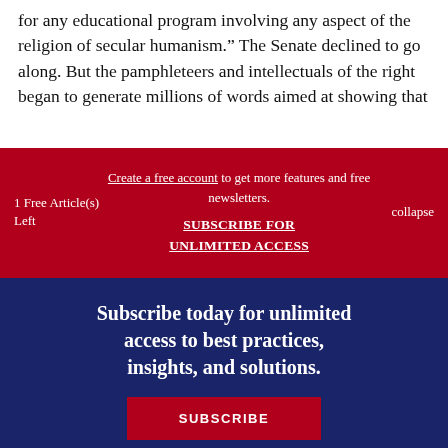for any educational program involving any aspect of the religion of secular humanism.” The Senate declined to go along. But the pamphleteers and intellectuals of the right began to generate millions of words aimed at showing that
1 Free Article(s) Left
Create a free account to get more features and free newsletters.
SUBSCRIBE FOR UNLIMITED ACCESS
collapse
Subscribe today for unlimited access to best practices, insights, and solutions.
SUBSCRIBE